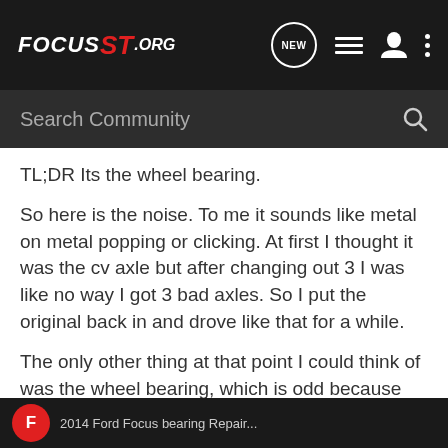FOCUS ST .ORG
TL;DR Its the wheel bearing.
So here is the noise. To me it sounds like metal on metal popping or clicking. At first I thought it was the cv axle but after changing out 3 I was like no way I got 3 bad axles. So I put the original back in and drove like that for a while.
The only other thing at that point I could think of was the wheel bearing, which is odd because I've never heard a wheel bearing make this sound.
I changed it out today and its gone!
[Figure (screenshot): Partial video thumbnail at bottom showing a red circle avatar and partial text '2014 Ford Focus...']